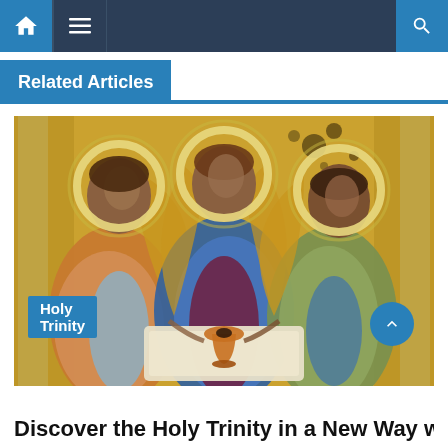Navigation bar with home, menu, and search icons
Related Articles
[Figure (illustration): Andrei Rublev's icon of the Holy Trinity — three angels with halos seated around a table, rendered in gold, blue, and earth tones]
Holy Trinity
Discover the Holy Trinity in a New Way with this